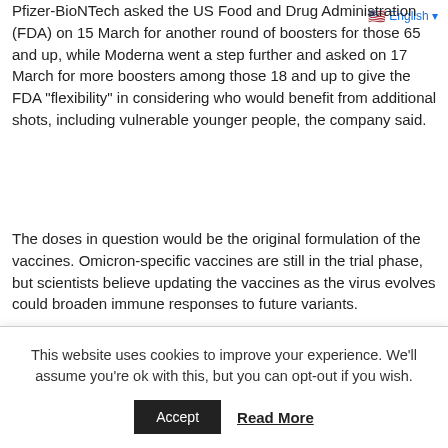Pfizer-BioNTech asked the US Food and Drug Administration (FDA) on 15 March for another round of boosters for those 65 and up, while Moderna went a step further and asked on 17 March for more boosters among those 18 and up to give the FDA “flexibility” in considering who would benefit from additional shots, including vulnerable younger people, the company said.
The doses in question would be the original formulation of the vaccines. Omicron-specific vaccines are still in the trial phase, but scientists believe updating the vaccines as the virus evolves could broaden immune responses to future variants.
Funding for the vaccination
This website uses cookies to improve your experience. We’ll assume you’re ok with this, but you can opt-out if you wish.